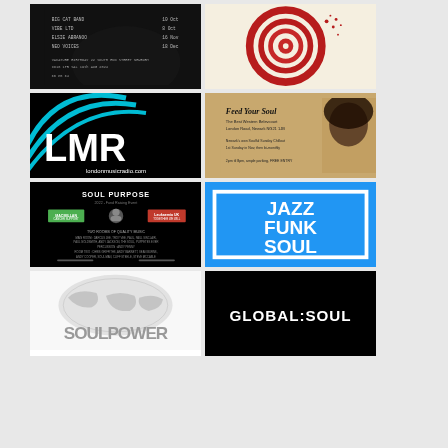[Figure (photo): Dark setlist/vinyl image with text listing artist names and times on black background]
[Figure (illustration): Red vinyl record spiral logo on cream/beige background]
[Figure (logo): LMR London Music Radio logo - white LMR text with blue arc graphic on black background, londonmusicradio.com]
[Figure (photo): Feed Your Soul event flyer - Best Western Belevcourt, London Road, Newark NG21 1JB, Newark's own Soulful Sunday Chillout, 1st Sunday in Nov, then bi-monthly, 2pm til 8pm, ample parking, FREE ENTRY, with portrait of woman]
[Figure (photo): Soul Purpose 2022 Fund Raising Event flyer with Macmillan Cancer Support and Leukaemia UK logos, two rooms of quality music listing]
[Figure (logo): Jazz Funk Soul logo - white text on blue background with white border box]
[Figure (logo): Soul Power logo with world map graphic, white/gray text on white background]
[Figure (logo): Global:Soul logo - white text on black background]